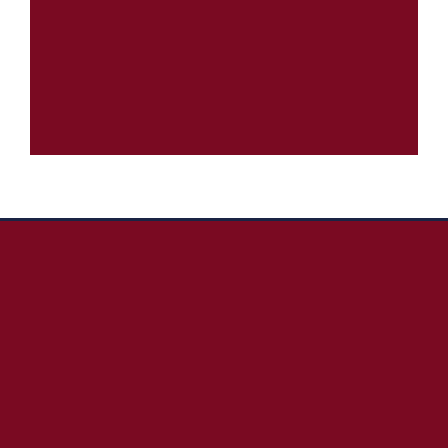[Figure (other): Dark maroon/burgundy rectangular image block at the top of the page]
Top Posts & Pages
American Tourist Found Dead at Sandals Resort in Bahamas After Experiencing Coronavirus-Related Symptoms
Larry Reid Goes Off on Bishop T.D. Jakes, Serita Jakes, Potter's House Staff, and Cora Jakes For Mishandling an Accusation That Cora Jakes Stole Another Woman's Baby Through "Manipulation, Coercion, and Duress"; Reid Did it Lovingly, Wisely, and Reluctantly and Calls Everything That Has Been Done Improper and an Injustice. This Sad Story Includes the Main and Just Reason Cora Jakes Divorced Her Husband for Allegedly he (Brandon Richard